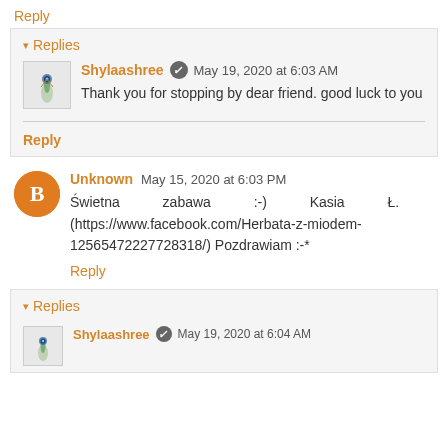Reply
Replies
Shylaashree  May 19, 2020 at 6:03 AM
Thank you for stopping by dear friend. good luck to you
Reply
Unknown  May 15, 2020 at 6:03 PM
Świetna zabawa :-) Kasia Ł. (https://www.facebook.com/Herbata-z-miodem-125654722277283​18/) Pozdrawiam :-*
Reply
Replies
Shylaashree  May 19, 2020 at 6:04 AM